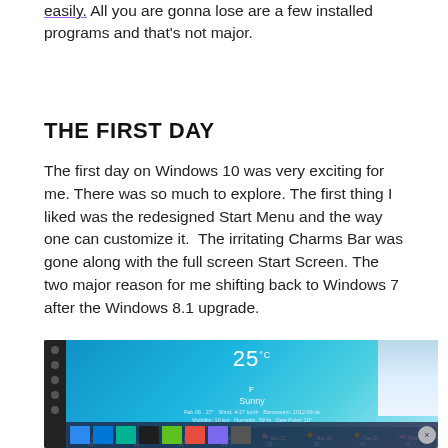easily. All you are gonna lose are a few installed programs and that's not major.
THE FIRST DAY
The first day on Windows 10 was very exciting for me. There was so much to explore. The first thing I liked was the redesigned Start Menu and the way one can customize it.  The irritating Charms Bar was gone along with the full screen Start Screen. The two major reason for me shifting back to Windows 7 after the Windows 8.1 upgrade.
[Figure (screenshot): Screenshot of Windows 10 Start Menu with a weather app tile showing 25°C Sunny, a weekly forecast strip, and the Start Menu taskbar with app tiles at the bottom. A close button (×) appears on the right side.]